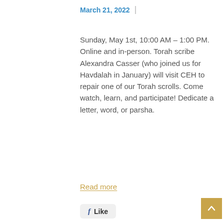March 21, 2022
Sunday, May 1st, 10:00 AM – 1:00 PM. Online and in-person. Torah scribe Alexandra Casser (who joined us for Havdalah in January) will visit CEH to repair one of our Torah scrolls. Come watch, learn, and participate! Dedicate a letter, word, or parsha.
Read more
f Like
[Figure (photo): Dark blue and black photo background with category tags: Community Interest, Events, on, Featured Post, and partial text 'Havdalah']
Community Interest
Events
on
Featured Post